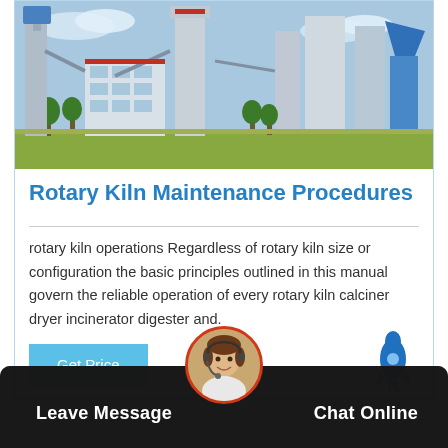[Figure (photo): Aerial/ground view of an industrial cement or chemical plant with large towers, pipes, buildings, and blue sky.]
Rotary Kiln Maintenance Procedures
rotary kiln operations Regardless of rotary kiln size or configuration the basic principles outlined in this manual govern the reliable operation of every rotary kiln calciner dryer incinerator digester and.
[Figure (illustration): Blue rocket icon]
Get Price
[Figure (photo): Customer service representative avatar in circular frame with red border]
Leave Message
Chat Online